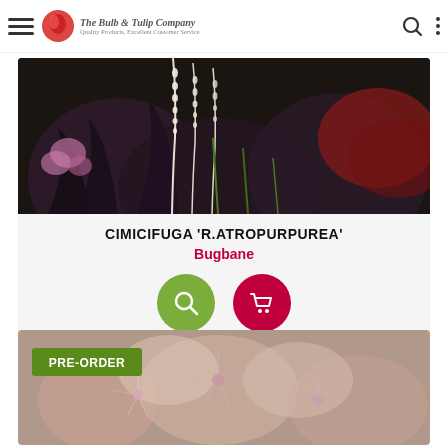The Bulb & Tulip Company — Quality Products, Excellent Customer Service
[Figure (photo): Dark purple foliage plant with tall white flowering spikes (Cimicifuga) surrounded by colorful perennials]
CIMICIFUGA 'R.ATROPURPUREA'
Bugbane
[Figure (illustration): Search icon (magnifying glass) in green circle button]
[Figure (illustration): Cart/shopping icon in red/crimson circle button]
[Figure (photo): Close-up of pink fluffy flowers (Pulsatilla or similar) with PRE-ORDER badge]